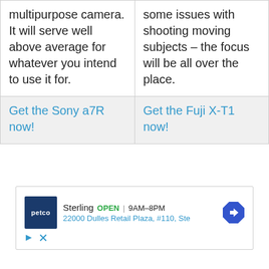multipurpose camera. It will serve well above average for whatever you intend to use it for.
some issues with shooting moving subjects – the focus will be all over the place.
Get the Sony a7R now!
Get the Fuji X-T1 now!
[Figure (other): Petco advertisement showing store location in Sterling, OPEN 9AM–8PM, 22000 Dulles Retail Plaza, #110, Ste, with navigation arrow icon]